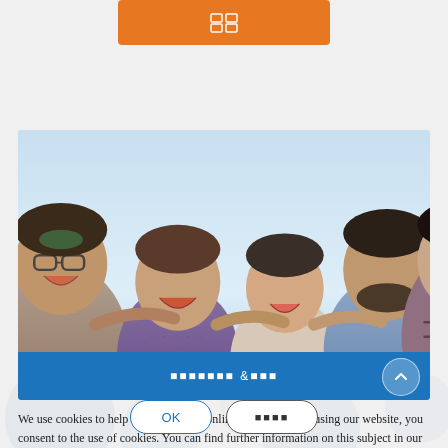[Figure (other): Orange rectangular button with a document/grid icon in white, centered at top of page]
[Figure (photo): Group photo of five young people laughing and looking up at camera from below, blue sky background, with a blue banner overlay at the bottom showing garbled text and an up-arrow circle button]
We use cookies to help deliver a better online experience. By using our website, you consent to the use of cookies. You can find further information on this subject in our privacy.
[Figure (other): Two buttons: 'OK' with blue border rounded pill, and garbled text button with gray border rounded pill]